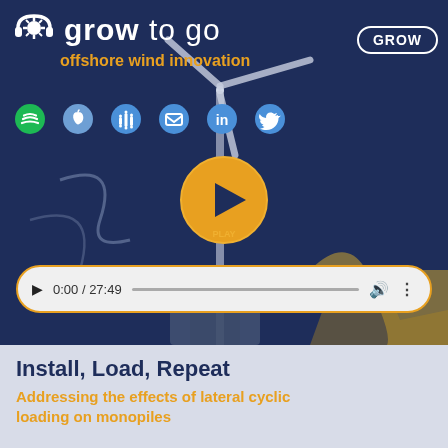[Figure (screenshot): Grow to Go offshore wind innovation podcast page with dark blue background, wind turbine illustration, headphone logo, social media icons (Spotify, Apple, Google Podcasts, email, LinkedIn, Twitter), a large orange play button labeled PLAY, and an audio progress bar showing 0:00 / 27:49]
Install, Load, Repeat
Addressing the effects of lateral cyclic loading on monopiles